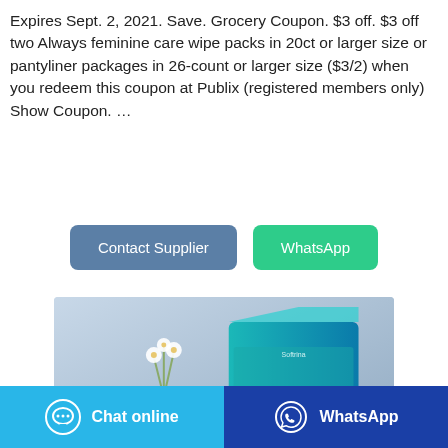Expires Sept. 2, 2021. Save. Grocery Coupon. $3 off. $3 off two Always feminine care wipe packs in 20ct or larger size or pantyliner packages in 26-count or larger size ($3/2) when you redeem this coupon at Publix (registered members only) Show Coupon. …
[Figure (other): Two buttons: 'Contact Supplier' (blue-grey) and 'WhatsApp' (green)]
[Figure (photo): Product photo showing a teal/green box of 'Sofree' feminine care product with white flowers in a vase on a grey-blue background]
[Figure (other): Footer bar with two buttons: 'Chat online' (light blue with chat icon) and 'WhatsApp' (dark blue with WhatsApp icon)]